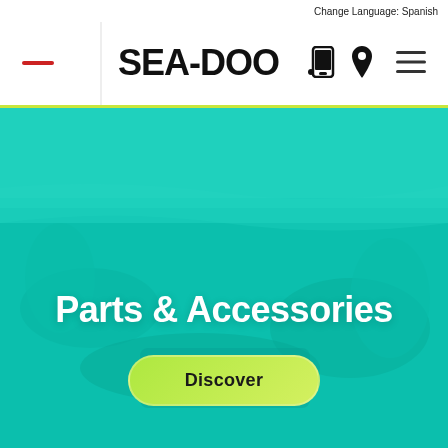Change Language: Spanish
[Figure (logo): Sea-Doo brand logo with phone icon, location pin icon, and hamburger menu icon in navigation bar]
[Figure (photo): Hero banner showing underwater/water view with teal overlay, featuring Parts & Accessories heading and Discover button]